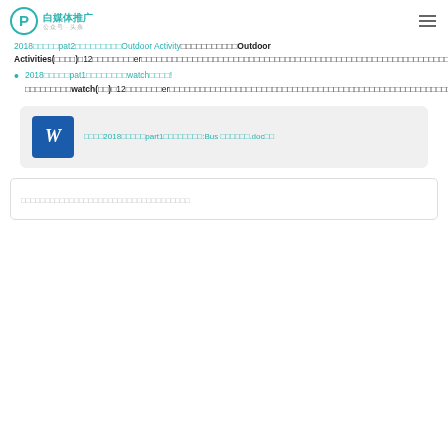白媒体推广
2018□□□□□pat2□□□□□□□□□Outdoor Activity□□□□□□□□□□□Outdoor Activities(□□□□)□12□□□□□□□□er□□□□□□□□□□□□□□□□□□□□□□□□□□□□□□□□□□□□□□□□□□□□□□□□□□□□□□□□□□□□□□□□□□□□
2018□□□□□pat1□□□□□□□□watch□□□□!□□□□□□□□□watch(□□)□12□□□□□□□er□□□□□□□□□□□□□□□□□□□□□□□□□□□□□□□□□□□□□□□□□□□□□□□□□□□□□□□□□□□
[Figure (other): Microsoft Word document file attachment card showing filename: □□□□2018□□□□□part1□□□□□□□□:Bus □□□□□□.doc□□]
□□□□□□□□□□□□□□□□□□□□□□□□□□□□□□□□□□□